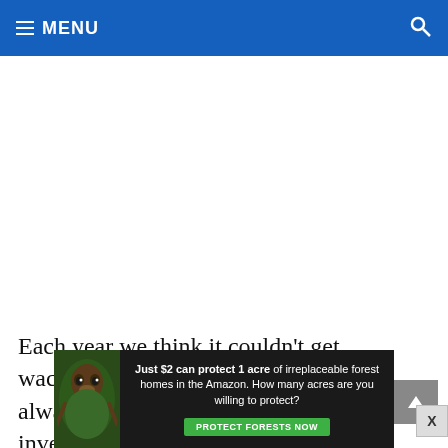MENU
Each year we think it couldn't get wackier and each year it does. We always get comments that we somehow invented these tales. We don't make up
[Figure (other): Advertisement banner: Just $2 can protect 1 acre of irreplaceable forest homes in the Amazon. How many acres are you willing to protect? PROTECT FORESTS NOW]